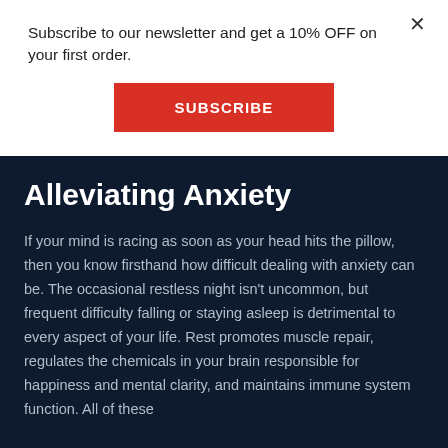Subscribe to our newsletter and get a 10% OFF on your first order.
[Figure (other): Red SUBSCRIBE button]
Alleviating Anxiety
If your mind is racing as soon as your head hits the pillow, then you know firsthand how difficult dealing with anxiety can be. The occasional restless night isn't uncommon, but frequent difficulty falling or staying asleep is detrimental to every aspect of your life. Rest promotes muscle repair, regulates the chemicals in your brain responsible for happiness and mental clarity, and maintains immune system function. All of these